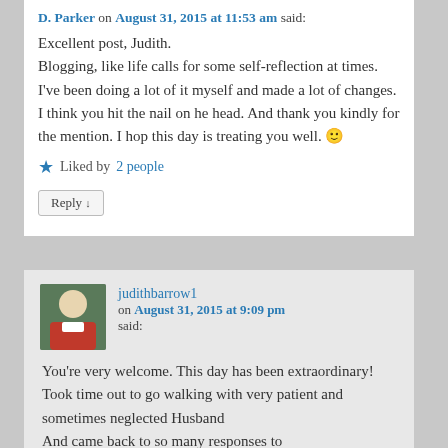D. Parker on August 31, 2015 at 11:53 am said:
Excellent post, Judith. Blogging, like life calls for some self-reflection at times. I've been doing a lot of it myself and made a lot of changes. I think you hit the nail on he head. And thank you kindly for the mention. I hop this day is treating you well. 🙂
Liked by 2 people
Reply ↓
judithbarrow1 on August 31, 2015 at 9:09 pm said:
You're very welcome. This day has been extraordinary! Took time out to go walking with very patient and sometimes neglected Husband And came back to so many responses to